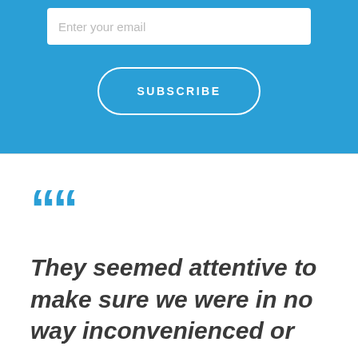Enter your email
SUBSCRIBE
““
They seemed attentive to make sure we were in no way inconvenienced or